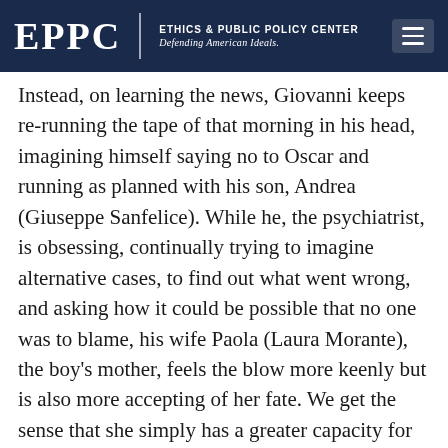EPPC | ETHICS & PUBLIC POLICY CENTER Defending American Ideals.
Instead, on learning the news, Giovanni keeps re-running the tape of that morning in his head, imagining himself saying no to Oscar and running as planned with his son, Andrea (Giuseppe Sanfelice). While he, the psychiatrist, is obsessing, continually trying to imagine alternative cases, to find out what went wrong, and asking how it could be possible that no one was to blame, his wife Paola (Laura Morante), the boy's mother, feels the blow more keenly but is also more accepting of her fate. We get the sense that she simply has a greater capacity for suffering, a lesser for denial. And their daughter, Irene (Jasmine Trinca) who was close